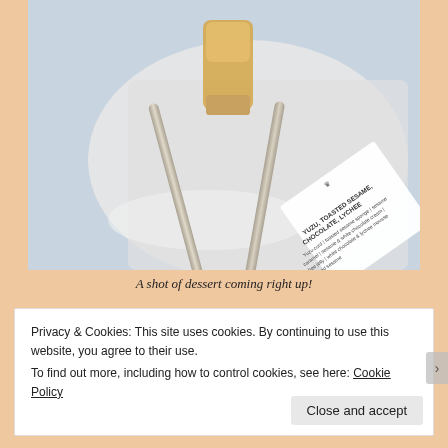[Figure (photo): A photograph of a dessert shot glass with two silver spoons on a white napkin/plate, with a small menu card visible that reads: YUZU, TOASTED SESAME, CHOCOLATE, LYCHEE — Yuzu curd | toasted sesame sponge | sesame caramel | sesame & white chocolate cream | lychee jelly | white chocolate & lychee mousse with toasted sesame]
A shot of dessert coming right up!
Privacy & Cookies: This site uses cookies. By continuing to use this website, you agree to their use. To find out more, including how to control cookies, see here: Cookie Policy
Close and accept